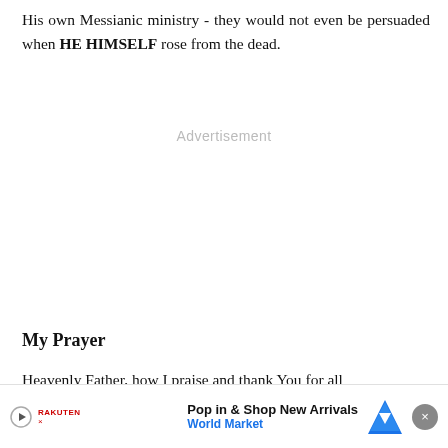His own Messianic ministry - they would not even be persuaded when HE HIMSELF rose from the dead.
[Figure (other): Advertisement placeholder area with gray 'Advertisement' label text]
My Prayer
Heavenly Father, how I praise and thank You for all Your ... tienc... toward... ith in
[Figure (other): Bottom ad banner: Pop in & Shop New Arrivals - World Market, with play button, Rakuten logo, navigation arrow icon, and close button]